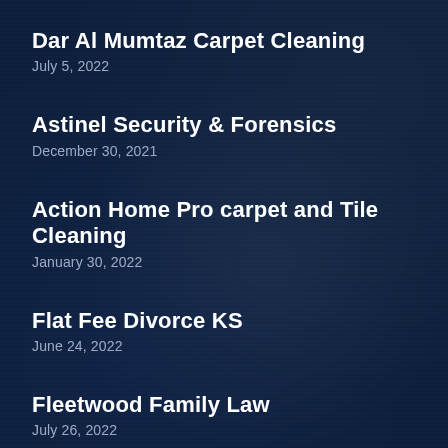Dar Al Mumtaz Carpet Cleaning
July 5, 2022
Astinel Security & Forensics
December 30, 2021
Action Home Pro carpet and Tile Cleaning
January 30, 2022
Flat Fee Divorce KS
June 24, 2022
Fleetwood Family Law
July 26, 2022